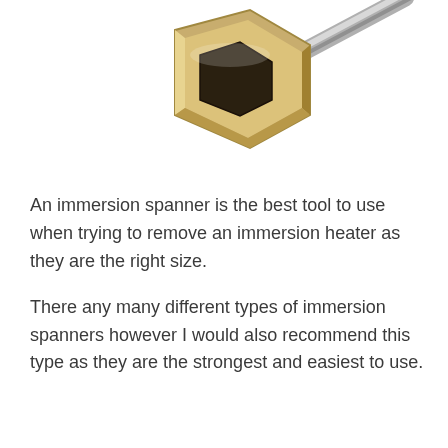[Figure (photo): Photograph of an immersion spanner tool — a hexagonal socket head (gold/brass colored) with a metal rod handle extending to the upper right, shown on a white background, partially cropped at top.]
An immersion spanner is the best tool to use when trying to remove an immersion heater as they are the right size.
There any many different types of immersion spanners however I would also recommend this type as they are the strongest and easiest to use.